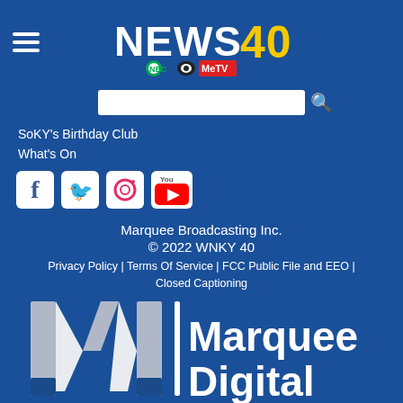[Figure (logo): NEWS 40 logo with NBC, CBS, and MeTV network logos]
[Figure (screenshot): Search input bar with search icon]
SoKY's Birthday Club
What's On
[Figure (logo): Social media icons: Facebook, Twitter, Instagram, YouTube]
Marquee Broadcasting Inc.
© 2022 WNKY 40
Privacy Policy | Terms Of Service | FCC Public File and EEO | Closed Captioning
[Figure (logo): Marquee Digital logo with large M and text]
[Figure (logo): TVNews logo]